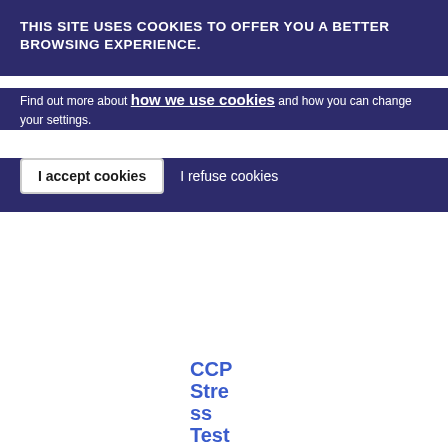THIS SITE USES COOKIES TO OFFER YOU A BETTER BROWSING EXPERIENCE.
Find out more about how we use cookies and how you can change your settings.
I accept cookies  I refuse cookies
CCP Stress Test
| Date | Reference | Title | Tags | Type | Download |
| --- | --- | --- | --- | --- | --- |
| 14/12/ 2017 | ESMA 70- 151- 957 | MiFID II Q&A on post-trading issues | MiFID - Secondary Markets | Post Trading | Q&A | PDF 280.02 KB |